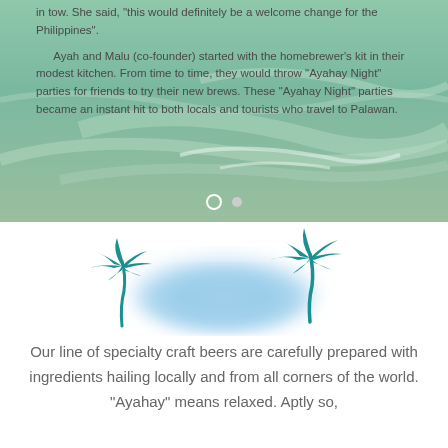in tow. She said, "this would definitely be a welcome change for the Philippines".
Ayah and Malu (co-founder) started with the homebrewer's kit in their modest kitchen. From time to time, they would throw "Ayahay Night" parties for friends to try their new brews. These "Ayahay Night" parties became an instant hit to both locals and tourists who travel to Palawan.
[Figure (illustration): Aerial ocean water background (turquoise/green), used as a decorative card slide background with pagination dots (open circle and filled circle) at the bottom center.]
[Figure (logo): Ayahay craft beer logo: two teal/cyan palm trees flanking a blurred blue elliptical shape in the center, on white background.]
Our line of specialty craft beers are carefully prepared with ingredients hailing locally and from all corners of the world. "Ayahay" means relaxed. Aptly so,